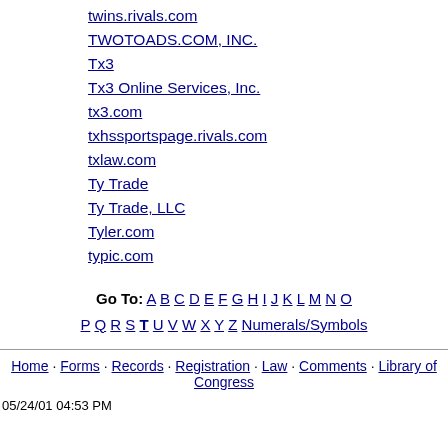twins.rivals.com
TWOTOADS.COM, INC.
Tx3
Tx3 Online Services, Inc.
tx3.com
txhssportspage.rivals.com
txlaw.com
Ty Trade
Ty Trade, LLC
Tyler.com
typic.com
Go To: A B C D E F G H I J K L M N O P Q R S T U V W X Y Z Numerals/Symbols
Home · Forms · Records · Registration · Law · Comments · Library of Congress
05/24/01 04:53 PM